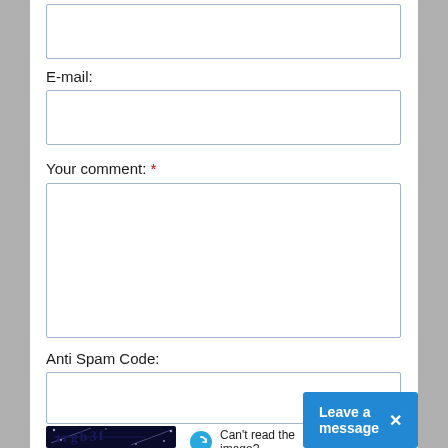[Figure (screenshot): Web form screenshot showing email field, comment textarea, anti-spam code field, and CAPTCHA image with refresh button and leave-a-message chat widget]
E-mail:
Your comment: *
Anti Spam Code:
Can't read the image? click to
Leave a message